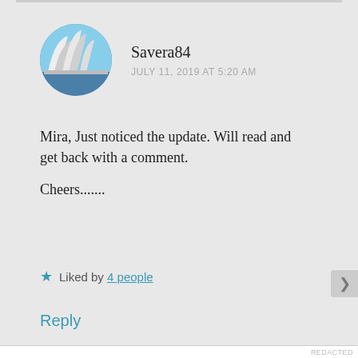Savera84
JULY 11, 2019 AT 5:20 AM
Mira, Just noticed the update. Will read and get back with a comment.
Cheers.......
Liked by 4 people
Reply
Privacy & Cookies: This site uses cookies. By continuing to use this website, you agree to their use.
To find out more, including how to control cookies, see here: Cookie Policy
Close and accept